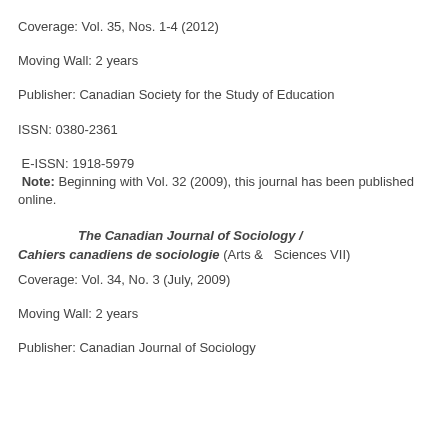Coverage: Vol. 35, Nos. 1-4 (2012)
Moving Wall: 2 years
Publisher: Canadian Society for the Study of Education
ISSN: 0380-2361
E-ISSN: 1918-5979
Note: Beginning with Vol. 32 (2009), this journal has been published online.
The Canadian Journal of Sociology / Cahiers canadiens de sociologie (Arts & Sciences VII)
Coverage: Vol. 34, No. 3 (July, 2009)
Moving Wall: 2 years
Publisher: Canadian Journal of Sociology